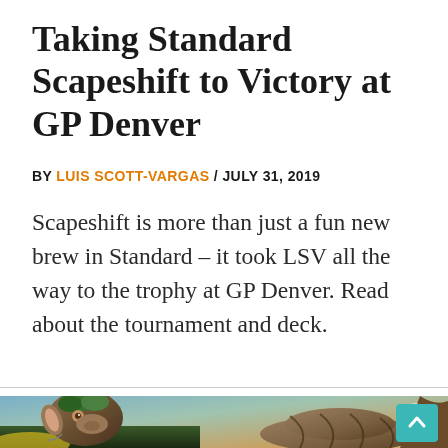Taking Standard Scapeshift to Victory at GP Denver
BY LUIS SCOTT-VARGAS / JULY 31, 2019
Scapeshift is more than just a fun new brew in Standard – it took LSV all the way to the trophy at GP Denver. Read about the tournament and deck.
[Figure (illustration): Fantasy illustration showing two goat-like creatures with foliage, colorful background with city skyline, partially visible at bottom of page. A teal scroll-to-top button is visible in the lower right.]